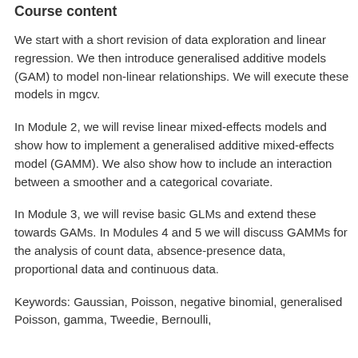Course content
We start with a short revision of data exploration and linear regression. We then introduce generalised additive models (GAM) to model non-linear relationships. We will execute these models in mgcv.
In Module 2, we will revise linear mixed-effects models and show how to implement a generalised additive mixed-effects model (GAMM). We also show how to include an interaction between a smoother and a categorical covariate.
In Module 3, we will revise basic GLMs and extend these towards GAMs. In Modules 4 and 5 we will discuss GAMMs for the analysis of count data, absence-presence data, proportional data and continuous data.
Keywords: Gaussian, Poisson, negative binomial, generalised Poisson, gamma, Tweedie, Bernoulli,